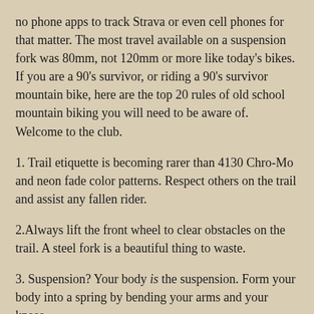no phone apps to track Strava or even cell phones for that matter. The most travel available on a suspension fork was 80mm, not 120mm or more like today's bikes. If you are a 90's survivor, or riding a 90's survivor mountain bike, here are the top 20 rules of old school mountain biking you will need to be aware of. Welcome to the club.
1. Trail etiquette is becoming rarer than 4130 Chro-Mo and neon fade color patterns. Respect others on the trail and assist any fallen rider.
2.Always lift the front wheel to clear obstacles on the trail. A steel fork is a beautiful thing to waste.
3. Suspension? Your body is the suspension. Form your body into a spring by bending your arms and your knees.
4. E-bikes are not mountain bikes. They're off road mopeds. Now repeat this line ten times in your head before moving on, until it becomes natural.
5. If the jump is too high, or the climb is too steep, a real